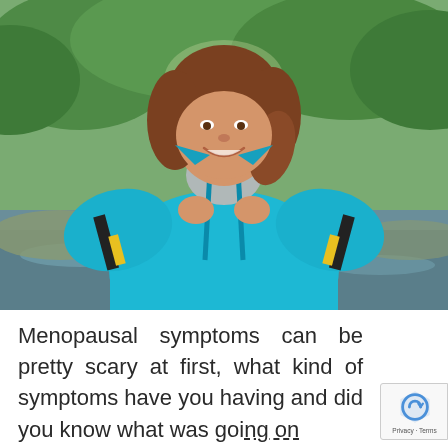[Figure (photo): A smiling middle-aged woman with brown shoulder-length hair standing outdoors near a river or pond, wearing a bright turquoise/blue waterproof jacket with black and yellow accents. Green trees and water are visible in the blurred background.]
Menopausal symptoms can be pretty scary at first, what kind of symptoms have you having and did you know what was going on...